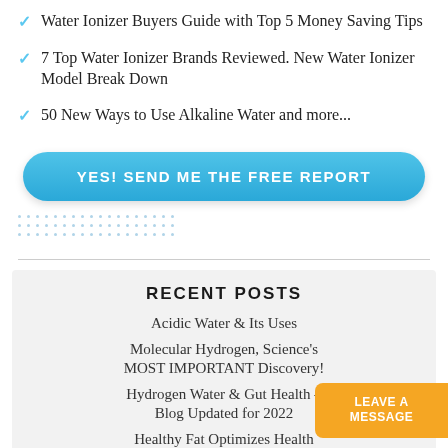Water Ionizer Buyers Guide with Top 5 Money Saving Tips
7 Top Water Ionizer Brands Reviewed. New Water Ionizer Model Break Down
50 New Ways to Use Alkaline Water and more...
YES! SEND ME THE FREE REPORT
RECENT POSTS
Acidic Water & Its Uses
Molecular Hydrogen, Science's MOST IMPORTANT Discovery!
Hydrogen Water & Gut Health – Blog Updated for 2022
Healthy Fat Optimizes Health
Ditch your Phone Alarm (Sooo
LEAVE A MESSAGE